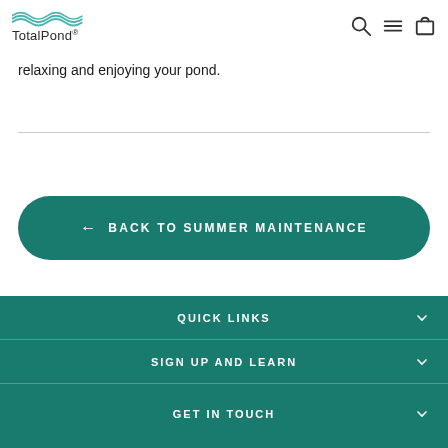TotalPond
relaxing and enjoying your pond.
← BACK TO SUMMER MAINTENANCE
QUICK LINKS
SIGN UP AND LEARN
GET IN TOUCH